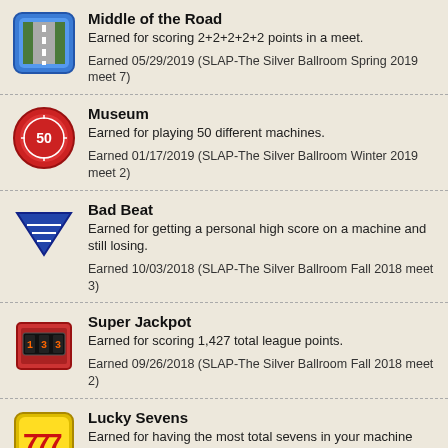Middle of the Road
Earned for scoring 2+2+2+2+2 points in a meet.
Earned 05/29/2019 (SLAP-The Silver Ballroom Spring 2019 meet 7)
Museum
Earned for playing 50 different machines.
Earned 01/17/2019 (SLAP-The Silver Ballroom Winter 2019 meet 2)
Bad Beat
Earned for getting a personal high score on a machine and still losing.
Earned 10/03/2018 (SLAP-The Silver Ballroom Fall 2018 meet 3)
Super Jackpot
Earned for scoring 1,427 total league points.
Earned 09/26/2018 (SLAP-The Silver Ballroom Fall 2018 meet 2)
Lucky Sevens
Earned for having the most total sevens in your machine scores in a season.
Earned 08/29/2018 (SLAP-The Silver Ballroom Summer 2018 meet 10)
Power Points
Earned for scoring 16 or more points three times in a